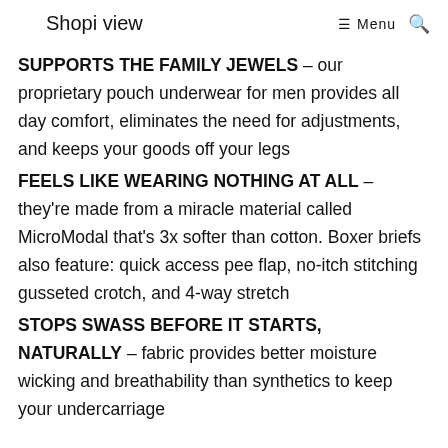Shopi view  ☰ Menu  🔍
SUPPORTS THE FAMILY JEWELS – our proprietary pouch underwear for men provides all day comfort, eliminates the need for adjustments, and keeps your goods off your legs
FEELS LIKE WEARING NOTHING AT ALL – they're made from a miracle material called MicroModal that's 3x softer than cotton. Boxer briefs also feature: quick access pee flap, no-itch stitching gusseted crotch, and 4-way stretch
STOPS SWASS BEFORE IT STARTS, NATURALLY – fabric provides better moisture wicking and breathability than synthetics to keep your undercarriage